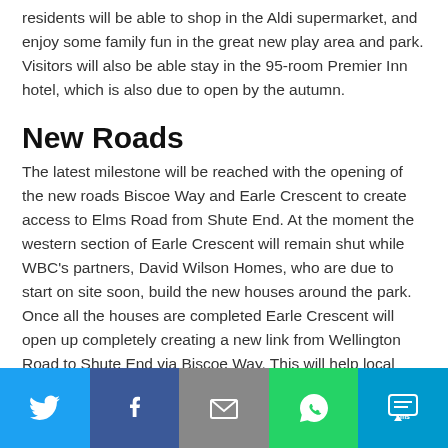residents will be able to shop in the Aldi supermarket, and enjoy some family fun in the great new play area and park. Visitors will also be able stay in the 95-room Premier Inn hotel, which is also due to open by the autumn.
New Roads
The latest milestone will be reached with the opening of the new roads Biscoe Way and Earle Crescent to create access to Elms Road from Shute End. At the moment the western section of Earle Crescent will remain shut while WBC's partners, David Wilson Homes, who are due to start on site soon, build the new houses around the park. Once all the houses are completed Earle Crescent will open up completely creating a new link from Wellington Road to Shute End via Biscoe Way. This will help local traffic by offering an alternative route for when there are issues on the roads on Wellington Road at the
[Figure (infographic): Social media share bar with Twitter, Facebook, Email, WhatsApp, and SMS buttons]